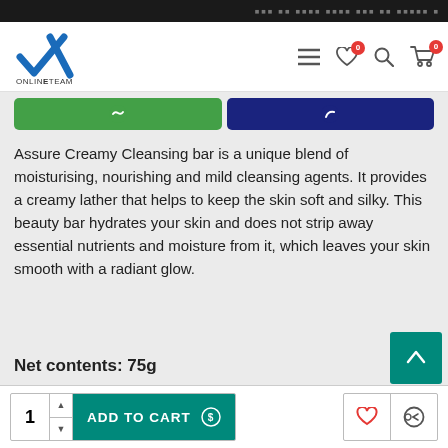Online Team e-commerce website header with logo and navigation icons (hamburger menu, wishlist with 0 badge, search, cart with 0 badge)
[Figure (screenshot): Green WhatsApp button and navy blue Messenger/call button strip at top of product content area]
Assure Creamy Cleansing bar is a unique blend of moisturising, nourishing and mild cleansing agents. It provides a creamy lather that helps to keep the skin soft and silky. This beauty bar hydrates your skin and does not strip away essential nutrients and moisture from it, which leaves your skin smooth with a radiant glow.
Net contents: 75g
1  ADD TO CART  [wishlist icon] [share icon]